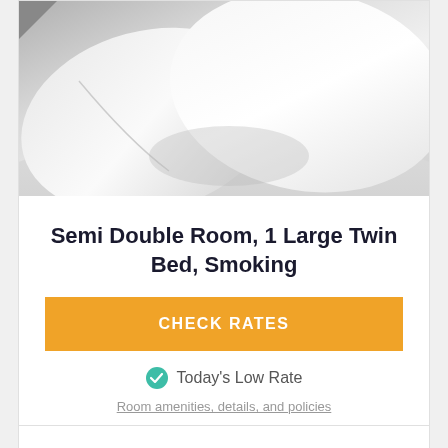[Figure (photo): Close-up black and white photo of white hotel bed pillows and linen]
Semi Double Room, 1 Large Twin Bed, Smoking
CHECK RATES
Today's Low Rate
Room amenities, details, and policies